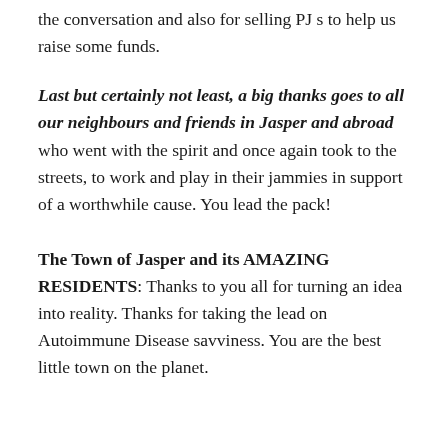the conversation and also for selling PJ s to help us raise some funds.
Last but certainly not least, a big thanks goes to all our neighbours and friends in Jasper and abroad who went with the spirit and once again took to the streets, to work and play in their jammies in support of a worthwhile cause. You lead the pack!
The Town of Jasper and its AMAZING RESIDENTS: Thanks to you all for turning an idea into reality. Thanks for taking the lead on Autoimmune Disease savviness. You are the best little town on the planet.